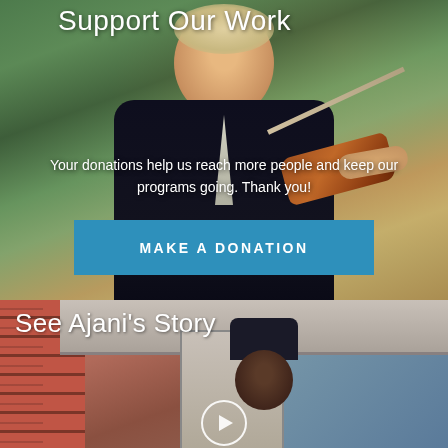Support Our Work
[Figure (photo): Young man with Down syndrome in a dark suit playing violin, smiling, with a garden background]
Your donations help us reach more people and keep our programs going. Thank you!
MAKE A DONATION
See Ajani's Story
[Figure (photo): Person wearing a dark beanie hat near a brick wall with a play button overlay, video thumbnail]